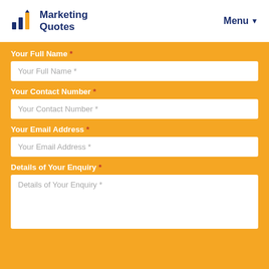Marketing Quotes | Menu
Your Full Name *
Your Full Name *
Your Contact Number *
Your Contact Number *
Your Email Address *
Your Email Address *
Details of Your Enquiry *
Details of Your Enquiry *